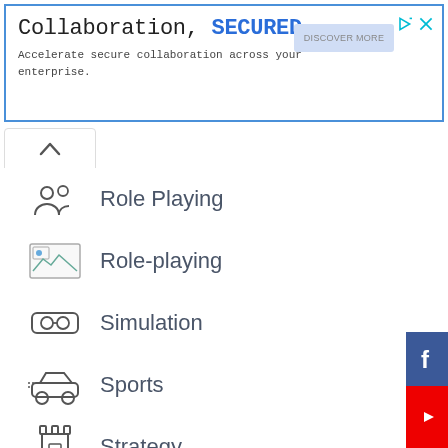[Figure (screenshot): Advertisement banner: 'Collaboration, SECURED. Accelerate secure collaboration across your enterprise.' with a blue button and ad icons.]
Role Playing
Role-playing
Simulation
Sports
Strategy
Travel & Local